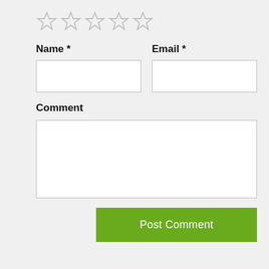[Figure (other): Five empty star rating icons in a row]
Name *
Email *
Comment
Post Comment